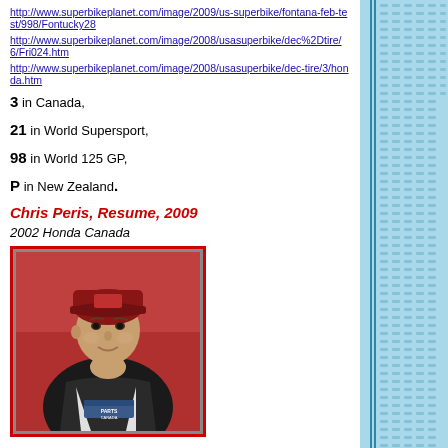http://www.superbikeplanet.com/image/2009/us-superbike/fontana-feb-test/998/Fontucky28
http://www.superbikeplanet.com/image/2008/usasuperbike/dec%2Dtire/6/Fri024.htm
http://www.superbikeplanet.com/image/2008/usasuperbike/dec-tire/3/honda.htm
3 in Canada,
21 in World Supersport,
98 in World 125 GP,
P in New Zealand.
Chris Peris, Resume, 2009
2002 Honda Canada
[Figure (photo): Photo of Chris Peris in motorcycle racing leathers with Parts Canada Superbike Championship logo, wearing a red and black cap]